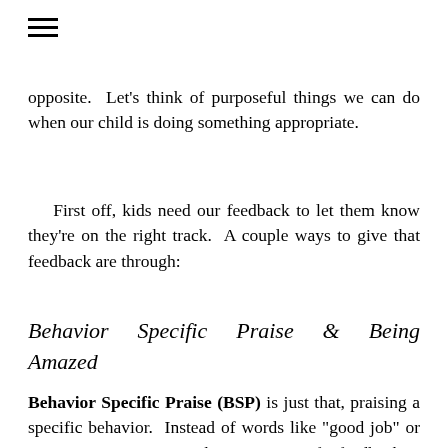≡
opposite.  Let's think of purposeful things we can do when our child is doing something appropriate.
First off, kids need our feedback to let them know they're on the right track.  A couple ways to give that feedback are through:
Behavior Specific Praise & Being Amazed
Behavior Specific Praise (BSP) is just that, praising a specific behavior.  Instead of words like "good job" or "awesome" we can give them more specific feedback